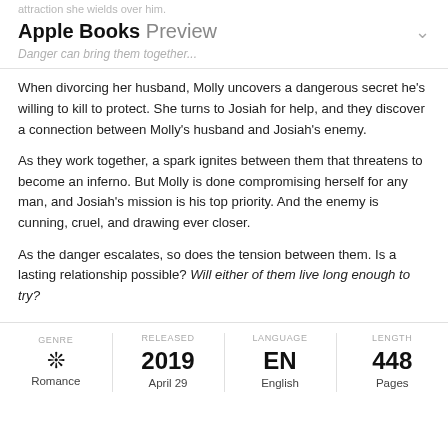attraction she wields over him.
Apple Books Preview
Danger can bring them together...
When divorcing her husband, Molly uncovers a dangerous secret he's willing to kill to protect. She turns to Josiah for help, and they discover a connection between Molly's husband and Josiah's enemy.
As they work together, a spark ignites between them that threatens to become an inferno. But Molly is done compromising herself for any man, and Josiah's mission is his top priority. And the enemy is cunning, cruel, and drawing ever closer.
As the danger escalates, so does the tension between them. Is a lasting relationship possible? Will either of them live long enough to try?
| GENRE | RELEASED | LANGUAGE | LENGTH |
| --- | --- | --- | --- |
| ✾ | 2019 | EN | 448 |
| Romance | April 29 | English | Pages |